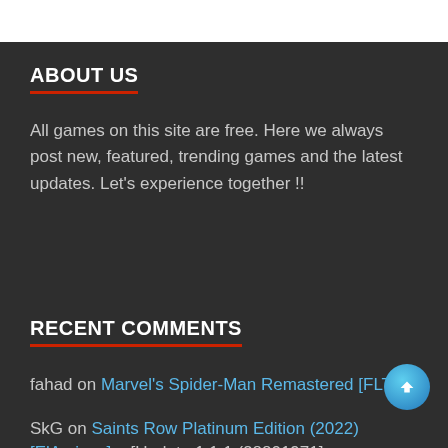ABOUT US
All games on this site are free. Here we always post new, featured, trending games and the latest updates. Let’s experience together !!
RECENT COMMENTS
fahad on Marvel’s Spider-Man Remastered [FLT]
SkG on Saints Row Platinum Edition (2022) [ElAmigos] + [Update 1.1.1 (28801971]